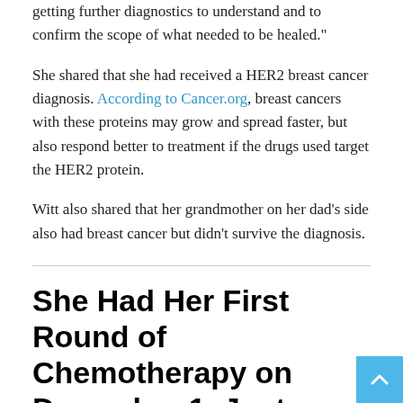getting further diagnostics to understand and to confirm the scope of what needed to be healed."
She shared that she had received a HER2 breast cancer diagnosis. According to Cancer.org, breast cancers with these proteins may grow and spread faster, but also respond better to treatment if the drugs used target the HER2 protein.
Witt also shared that her grandmother on her dad's side also had breast cancer but didn't survive the diagnosis.
She Had Her First Round of Chemotherapy on December 1, Just Weeks Before Her Parents Died